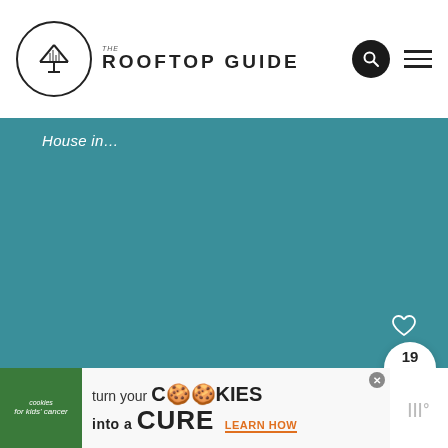THE ROOFTOP GUIDE
[Figure (screenshot): Teal/dark cyan background section with partial italic white text 'House in...' visible at top left, and UI elements: heart icon and share bubble with count 19 on right side]
[Figure (infographic): Advertisement banner: 'cookies for kids cancer - turn your COOKIES into a CURE LEARN HOW' with green logo and cookie icons, close button, and side brand logo]